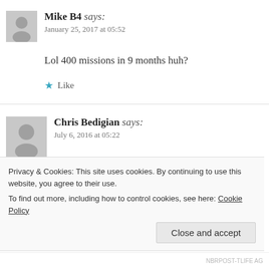Mike B4 says: January 25, 2017 at 05:52
Lol 400 missions in 9 months huh?
★ Like
Chris Bedigian says: July 6, 2016 at 05:22
I know I'm pretty late to this article, but what do grunts doctors and surgeons that go overseas but stay on the b
Privacy & Cookies: This site uses cookies. By continuing to use this website, you agree to their use. To find out more, including how to control cookies, see here: Cookie Policy
Close and accept